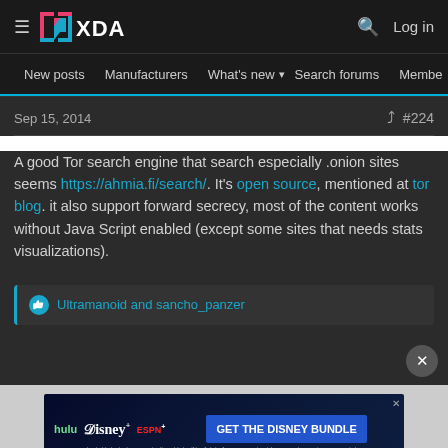XDA Developers — New posts | Manufacturers | What's new | Search forums | Members
Sep 15, 2014  #224
A good Tor search engine that search especially .onion sites seems https://ahmia.fi/search/. It's open source, mentioned at tor blog. it also support forward secrecy, most of the content works without Java Script enabled (except some sites that needs stats visualizations).
Ultramanoid and sancho_panzer
[Figure (screenshot): Disney Bundle advertisement banner showing Hulu, Disney+, and ESPN+ logos with 'GET THE DISNEY BUNDLE' call to action button]